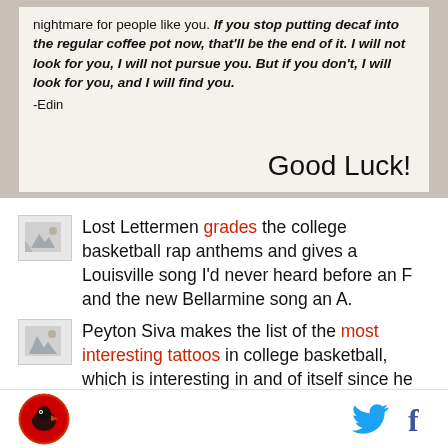[Figure (photo): A handwritten note on paper. Typed text reads: 'nightmare for people like you. If you stop putting decaf into the regular coffee pot now, that'll be the end of it. I will not look for you, I will not pursue you. But if you don't, I will look for you, and I will find you.' Signed '-Edin' with handwritten 'Good Luck!' in large cursive script.]
Lost Lettermen grades the college basketball rap anthems and gives a Louisville song I'd never heard before an F and the new Bellarmine song an A.
Peyton Siva makes the list of the most interesting tattoos in college basketball, which is interesting in and of itself since he probably has the 43rd most
[Figure (logo): SB Nation logo - circular red logo with a bird/cardinal illustration]